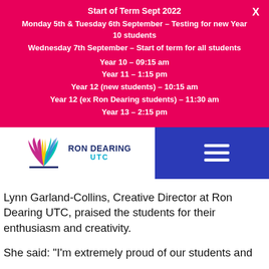Start of Term Sept 2022
Monday 5th & Tuesday 6th September – Testing for new Year 10 students
Wednesday 7th September – Start of term for all students
Year 10 – 09:15 am
Year 11 – 1:15 pm
Year 12 (new students) – 10:15 am
Year 12 (ex Ron Dearing students) – 11:30 am
Year 13 – 2:15 pm
[Figure (logo): Ron Dearing UTC logo with colourful wing/feather graphic and school name]
Lynn Garland-Collins, Creative Director at Ron Dearing UTC, praised the students for their enthusiasm and creativity.
She said: "I'm extremely proud of our students and